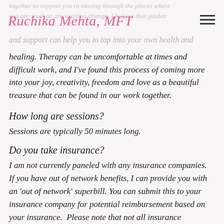Ruchika Mehta, MFT
together to support you in moving through the places where you are stuck or are wanting change. I believe that guidance and support can help you to tap into your own health and healing. Therapy can be uncomfortable at times and difficult work, and I've found this process of coming more into your joy, creativity, freedom and love as a beautiful treasure that can be found in our work together.
How long are sessions?
Sessions are typically 50 minutes long.
Do you take insurance?
I am not currently paneled with any insurance companies.  If you have out of network benefits, I can provide you with an 'out of network' superbill. You can submit this to your insurance company for potential reimbursement based on your insurance.  Please note that not all insurance companies